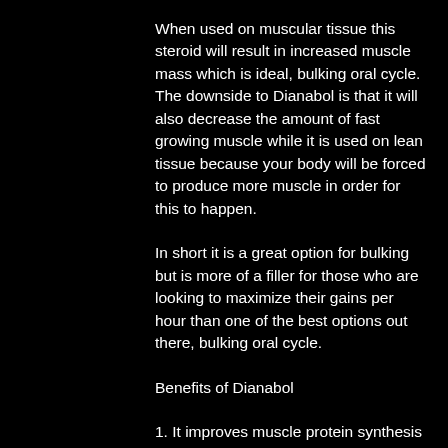When used on muscular tissue this steroid will result in increased muscle mass which is ideal, bulking oral cycle. The downside to Dianabol is that it will also decrease the amount of fast growing muscle while it is used on lean tissue because your body will be forced to produce more muscle in order for this to happen.
In short it is a great option for bulking but is more of a filler for those who are looking to maximize their gains per hour than one of the best options out there, bulking oral cycle.
Benefits of Dianabol
1. It improves muscle protein synthesis by increasing muscle protein synthesis
2. It decreases the amount of muscle growth that is experienced while using Dianabol